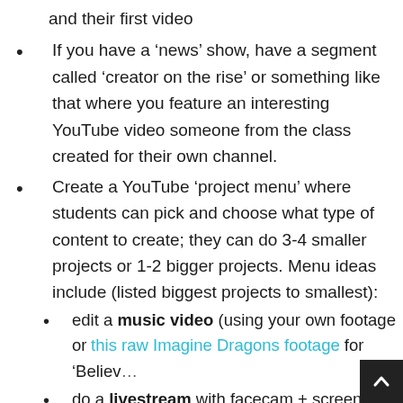and their first video
If you have a ‘news’ show, have a segment called ‘creator on the rise’ or something like that where you feature an interesting YouTube video someone from the class created for their own channel.
Create a YouTube ‘project menu’ where students can pick and choose what type of content to create; they can do 3-4 smaller projects or 1-2 bigger projects. Menu ideas include (listed biggest projects to smallest):
edit a music video (using your own footage or this raw Imagine Dragons footage for ‘Believe
do a livestream with facecam + screen display